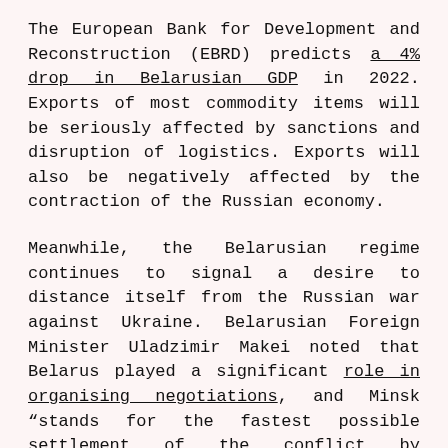The European Bank for Development and Reconstruction (EBRD) predicts a 4% drop in Belarusian GDP in 2022. Exports of most commodity items will be seriously affected by sanctions and disruption of logistics. Exports will also be negatively affected by the contraction of the Russian economy.
Meanwhile, the Belarusian regime continues to signal a desire to distance itself from the Russian war against Ukraine. Belarusian Foreign Minister Uladzimir Makei noted that Belarus played a significant role in organising negotiations, and Minsk “stands for the fastest possible settlement of the conflict by diplomatic means on the basis of a balance of interests and building a balanced and sustainable mechanism of European security.” He also warned that restrictions on the participation of